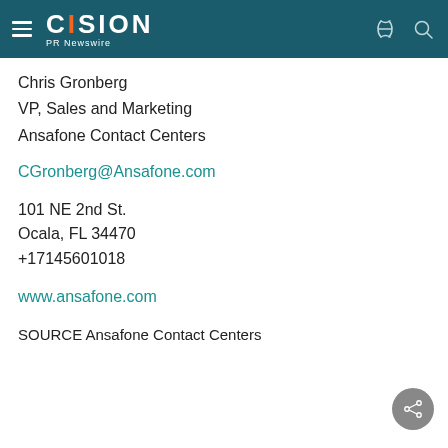CISION PR Newswire
Chris Gronberg
VP, Sales and Marketing
Ansafone Contact Centers
CGronberg@Ansafone.com
101 NE 2nd St.
Ocala, FL 34470
+17145601018
www.ansafone.com
SOURCE Ansafone Contact Centers